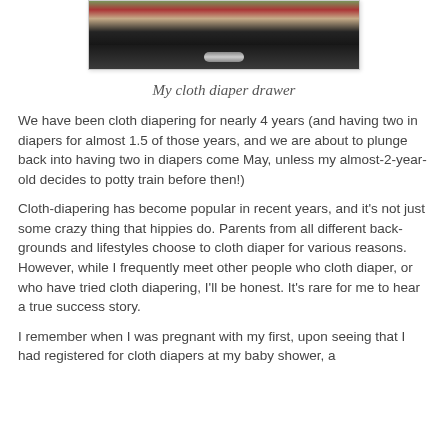[Figure (photo): A photo of a cloth diaper drawer — colorful cloth diapers folded in a dark drawer, with a silver drawer handle visible at the bottom.]
My cloth diaper drawer
We have been cloth diapering for nearly 4 years (and having two in diapers for almost 1.5 of those years, and we are about to plunge back into having two in diapers come May, unless my almost-2-year-old decides to potty train before then!)
Cloth-diapering has become popular in recent years, and it's not just some crazy thing that hippies do. Parents from all different back-grounds and lifestyles choose to cloth diaper for various reasons. However, while I frequently meet other people who cloth diaper, or who have tried cloth diapering, I'll be honest. It's rare for me to hear a true success story.
I remember when I was pregnant with my first, upon seeing that I had registered for cloth diapers at my baby shower, a